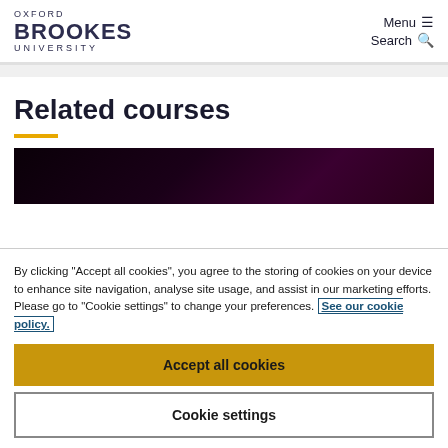OXFORD BROOKES UNIVERSITY — Menu ≡ Search 🔍
Related courses
[Figure (photo): Dark gradient banner image, black to deep purple/maroon]
By clicking "Accept all cookies", you agree to the storing of cookies on your device to enhance site navigation, analyse site usage, and assist in our marketing efforts. Please go to "Cookie settings" to change your preferences. See our cookie policy.
Accept all cookies
Cookie settings